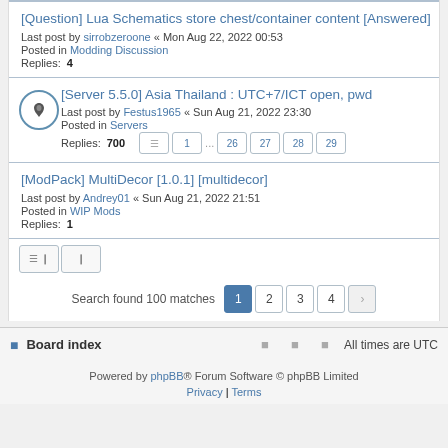[Question] Lua Schematics store chest/container content [Answered]
Last post by sirrobzeroone « Mon Aug 22, 2022 00:53
Posted in Modding Discussion
Replies: 4
[Server 5.5.0] Asia Thailand : UTC+7/ICT open, pwd
Last post by Festus1965 « Sun Aug 21, 2022 23:30
Posted in Servers
Replies: 700
[ModPack] MultiDecor [1.0.1] [multidecor]
Last post by Andrey01 « Sun Aug 21, 2022 21:51
Posted in WIP Mods
Replies: 1
Search found 100 matches  1 2 3 4
Board index   All times are UTC
Powered by phpBB® Forum Software © phpBB Limited
Privacy | Terms